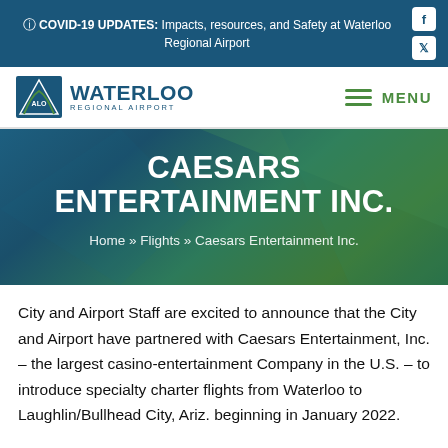ⓘ COVID-19 UPDATES: Impacts, resources, and Safety at Waterloo Regional Airport
[Figure (logo): Waterloo Regional Airport logo with WATERLOO REGIONAL AIRPORT text and hamburger menu icon with MENU label]
CAESARS ENTERTAINMENT INC.
Home » Flights » Caesars Entertainment Inc.
City and Airport Staff are excited to announce that the City and Airport have partnered with Caesars Entertainment, Inc. – the largest casino-entertainment Company in the U.S. – to introduce specialty charter flights from Waterloo to Laughlin/Bullhead City, Ariz. beginning in January 2022.